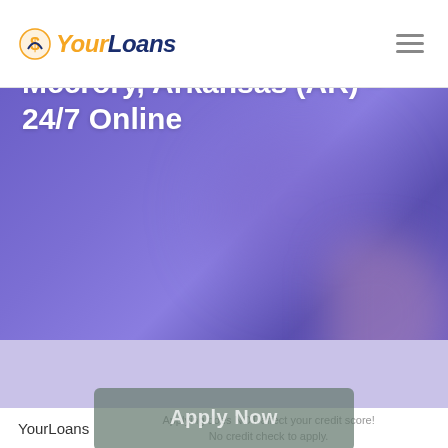YourLoans
Installment Loans in Mccrory, Arkansas (AR) – 24/7 Online
[Figure (screenshot): Purple blurred hero background image for a loan website]
Apply Now
YourLoans
Applying does NOT affect your credit score! No credit check to apply.